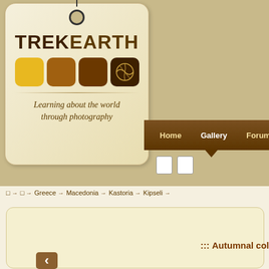[Figure (logo): TrekEarth logo: a tag-shaped badge with string hole, bold text TREKEARTH with colored squares (gold, dark gold, brown, dark brown with world map icon), tagline 'Learning about the world through photography']
Home   Gallery   Forums   C...
□ □
□→  □→  Greece→  Macedonia→  Kastoria→  Kipseli→
::: Autumnal col...
[Figure (other): Back navigation arrow button (brown left-pointing arrow)]